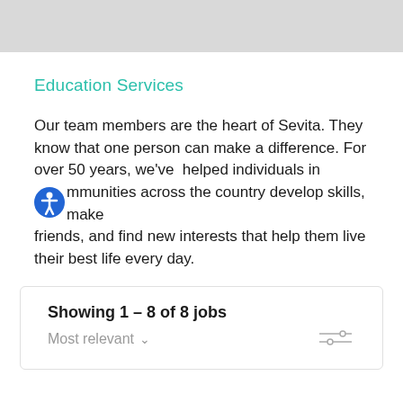Education Services
Our team members are the heart of Sevita. They know that one person can make a difference. For over 50 years, we've  helped individuals in communities across the country develop skills, make friends, and find new interests that help them live their best life every day.
Showing 1 – 8 of 8 jobs
Most relevant